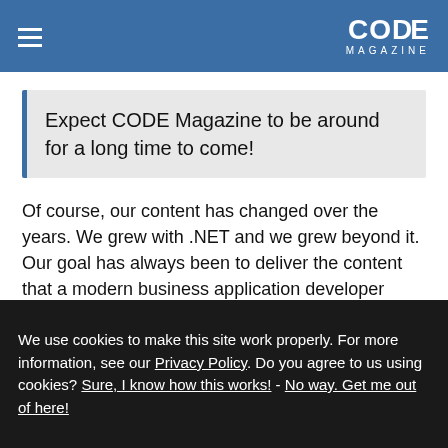CODE MAGAZINE
Expect CODE Magazine to be around for a long time to come!
Of course, our content has changed over the years. We grew with .NET and we grew beyond it. Our goal has always been to deliver the content that a modern business application developer needs, whether that was Microsoft-exclusive in the days of Windows DNA and the early days of .NET, or whether
We use cookies to make this site work properly. For more information, see our Privacy Policy. Do you agree to us using cookies? Sure, I know how this works! - No way. Get me out of here!